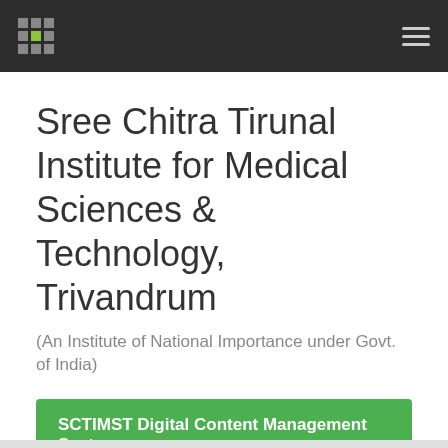SCTIMST logo and navigation
Sree Chitra Tirunal Institute for Medical Sciences & Technology, Trivandrum
(An Institute of National Importance under Govt. of India)
SCTIMST Digital Content Management System
Browsing by Author Sreedharan, SE